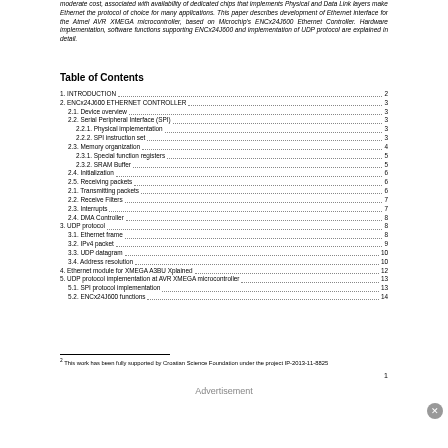moderate cost, associated with availability of dedicated chips that implements Physical and Data Link layers make Ethernet the protocol of choice for many applications. This paper describes development of Ethernet interface for the Atmel AVR XMEGA microcontroller, based on Microchip's ENCx24J600 Ethernet Controller. Hardware implementation, software functions supporting ENCx24J600 and implementation of UDP protocol are explained in detail.
Table of Contents
1. INTRODUCTION....................................................................................................................................2
2. ENCx24J600 ETHERNET CONTROLLER.............................................................................................3
2.1. Device overview ..............................................................................................................................3
2.2. Serial Peripheral Interface (SPI) .....................................................................................................3
2.2.1. Physical implementation..............................................................................................................3
2.2.2. SPI instruction set.........................................................................................................................3
2.3. Memory organization..........................................................................................................................4
2.3.1. Special function registers...............................................................................................................5
2.3.2. SRAM Buffer...................................................................................................................................5
2.4. Initialization .....................................................................................................................................6
2.5. Receiving packets...............................................................................................................................6
2.1. Transmitting packets...........................................................................................................................6
2.2. Receive Filters....................................................................................................................................7
2.3. Interrupts...........................................................................................................................................7
2.4. DMA Controller.................................................................................................................................8
3. UDP protocol .......................................................................................................................................8
3.1. Ethernet frame...................................................................................................................................8
3.2. IPv4 packet........................................................................................................................................9
3.3. UDP datagram...................................................................................................................................10
3.4. Address resolution ..........................................................................................................................10
4. Ethernet module for XMEGA A3BU Xplained....................................................................................12
5. UDP protocol implementation at AVR XMEGA microcontroller.......................................................13
5.1. SPI protocol implementation...........................................................................................................13
5.2. ENCx24J600 functions ....................................................................................................................14
2 This work has been fully supported by Croatian Science Foundation under the project IP-2013-11-8825
1